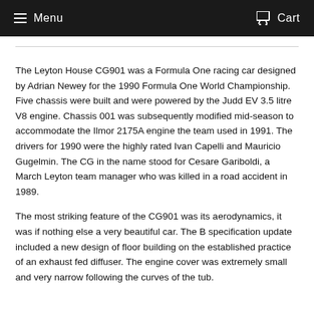Menu  Cart
The Leyton House CG901 was a Formula One racing car designed by Adrian Newey for the 1990 Formula One World Championship. Five chassis were built and were powered by the Judd EV 3.5 litre V8 engine. Chassis 001 was subsequently modified mid-season to accommodate the Ilmor 2175A engine the team used in 1991. The drivers for 1990 were the highly rated Ivan Capelli and Mauricio Gugelmin. The CG in the name stood for Cesare Gariboldi, a March Leyton team manager who was killed in a road accident in 1989.
The most striking feature of the CG901 was its aerodynamics, it was if nothing else a very beautiful car. The B specification update included a new design of floor building on the established practice of an exhaust fed diffuser. The engine cover was extremely small and very narrow following the curves of the tub.